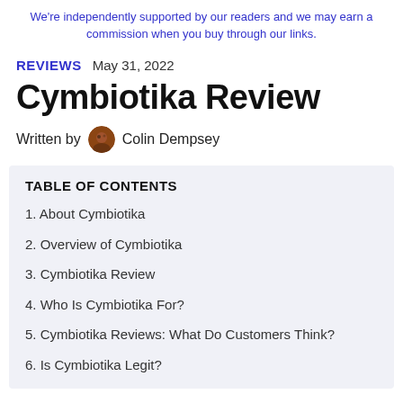We're independently supported by our readers and we may earn a commission when you buy through our links.
REVIEWS   May 31, 2022
Cymbiotika Review
Written by   Colin Dempsey
TABLE OF CONTENTS
1. About Cymbiotika
2. Overview of Cymbiotika
3. Cymbiotika Review
4. Who Is Cymbiotika For?
5. Cymbiotika Reviews: What Do Customers Think?
6. Is Cymbiotika Legit?